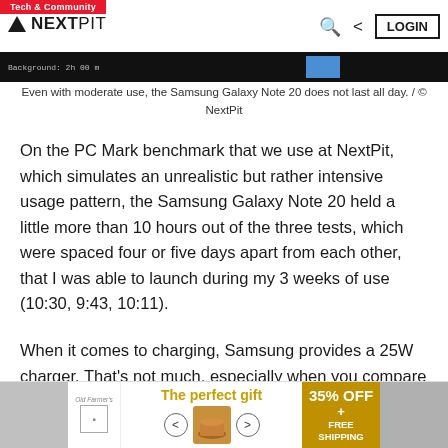Tech & Community | NEXTPIT | LOGIN
[Figure (screenshot): Partial screenshot of a battery/background settings screen with dark background]
Even with moderate use, the Samsung Galaxy Note 20 does not last all day. / © NextPit
On the PC Mark benchmark that we use at NextPit, which simulates an unrealistic but rather intensive usage pattern, the Samsung Galaxy Note 20 held a little more than 10 hours out of the three tests, which were spaced four or five days apart from each other, that I was able to launch during my 3 weeks of use (10:30, 9:43, 10:11).
When it comes to charging, Samsung provides a 25W charger. That's not much, especially when you compare it to some smartphones that now offer 40W or even 65W chargers. Starting from a 20% charge, it took me
[Figure (other): Advertisement banner: The perfect gift - 35% OFF + FREE SHIPPING]